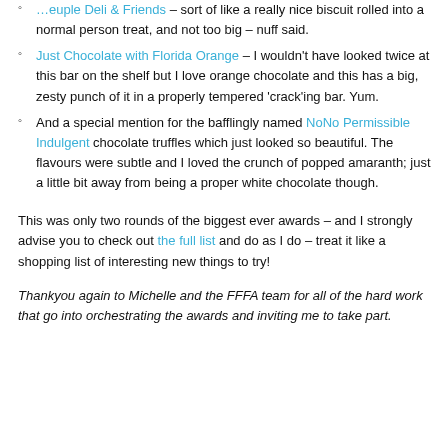…[truncated link] – sort of like a really nice biscuit rolled into a normal person treat, and not too big – nuff said.
Just Chocolate with Florida Orange – I wouldn't have looked twice at this bar on the shelf but I love orange chocolate and this has a big, zesty punch of it in a properly tempered 'crack'ing bar. Yum.
And a special mention for the bafflingly named NoNo Permissible Indulgent chocolate truffles which just looked so beautiful. The flavours were subtle and I loved the crunch of popped amaranth; just a little bit away from being a proper white chocolate though.
This was only two rounds of the biggest ever awards – and I strongly advise you to check out the full list and do as I do – treat it like a shopping list of interesting new things to try!
Thankyou again to Michelle and the FFFA team for all of the hard work that go into orchestrating the awards and inviting me to take part.